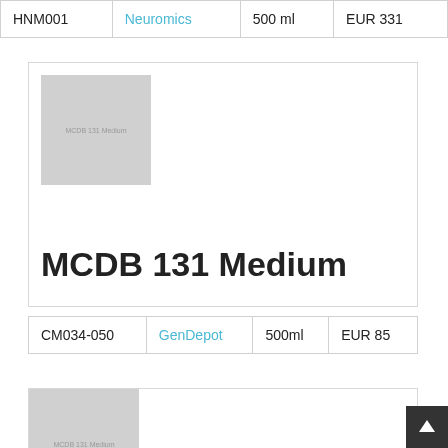| ID | Supplier | Volume | Price |
| --- | --- | --- | --- |
| HNM001 | Neuromics | 500 ml | EUR 331 |
[Figure (photo): Product image placeholder for MCDB 131 Medium, gray square with text label]
MCDB 131 Medium
| ID | Supplier | Volume | Price |
| --- | --- | --- | --- |
| CM034-050 | GenDepot | 500ml | EUR 85 |
[Figure (photo): Product image placeholder for MCDB 131 Medium (second card), gray square with text label]